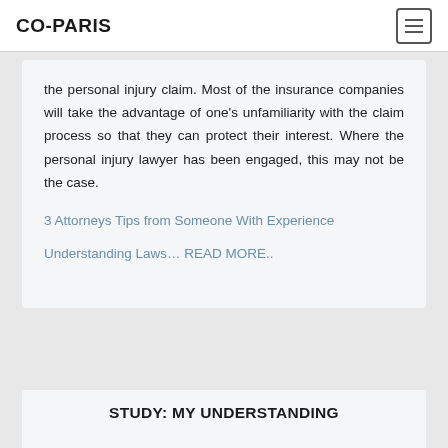CO-PARIS
the personal injury claim. Most of the insurance companies will take the advantage of one's unfamiliarity with the claim process so that they can protect their interest. Where the personal injury lawyer has been engaged, this may not be the case.
3 Attorneys Tips from Someone With Experience
Understanding Laws… READ MORE..
STUDY: MY UNDERSTANDING